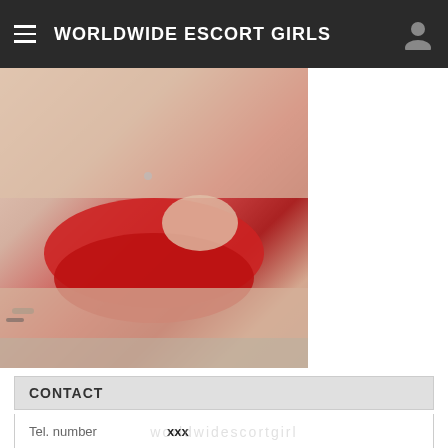WORLDWIDE ESCORT GIRLS
[Figure (photo): Cropped photo of a woman in red underwear, seated, torso and lower body visible]
CONTACT
| Tel. number | xxx |
| City. | Limoges/France |
| Last seen: | Today in 09:27 |